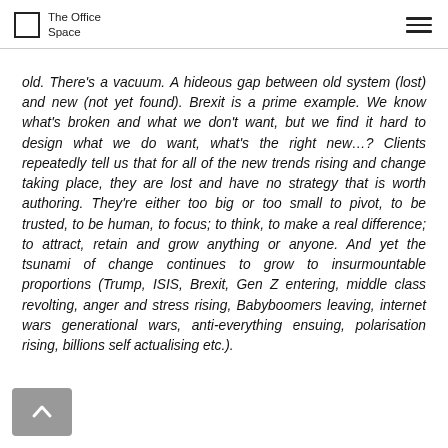The Office Space
old. There's a vacuum. A hideous gap between old system (lost) and new (not yet found). Brexit is a prime example. We know what's broken and what we don't want, but we find it hard to design what we do want, what's the right new…? Clients repeatedly tell us that for all of the new trends rising and change taking place, they are lost and have no strategy that is worth authoring. They're either too big or too small to pivot, to be trusted, to be human, to focus; to think, to make a real difference; to attract, retain and grow anything or anyone. And yet the tsunami of change continues to grow to insurmountable proportions (Trump, ISIS, Brexit, Gen Z entering, middle class revolting, anger and stress rising, Babyboomers leaving, internet wars generational wars, anti-everything ensuing, polarisation rising, billions self actualising etc.).